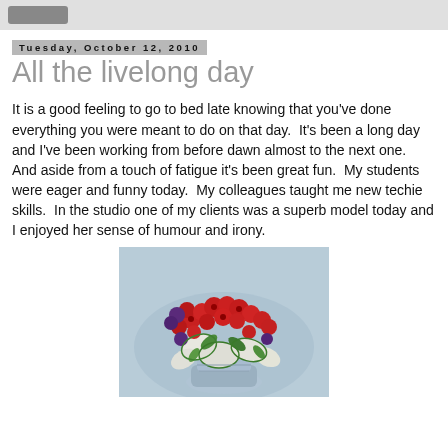Tuesday, October 12, 2010
All the livelong day
It is a good feeling to go to bed late knowing that you've done everything you were meant to do on that day.  It's been a long day and I've been working from before dawn almost to the next one.  And aside from a touch of fatigue it's been great fun.  My students were eager and funny today.  My colleagues taught me new techie skills.  In the studio one of my clients was a superb model today and I enjoyed her sense of humour and irony.
[Figure (photo): Painting or illustration of a bouquet of red and white flowers with purple blooms and green leaves in a vase, on a blue/grey background.]